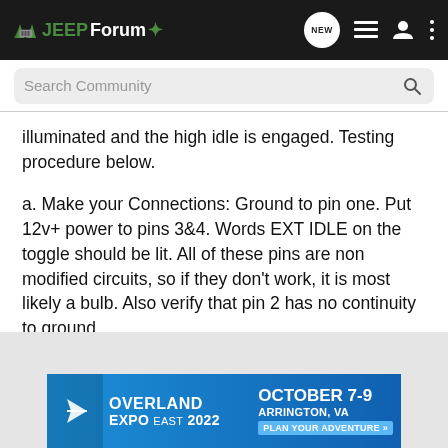JEEPForum
illuminated and the high idle is engaged. Testing procedure below.
a. Make your Connections: Ground to pin one. Put 12v+ power to pins 3&4. Words EXT IDLE on the toggle should be lit. All of these pins are non modified circuits, so if they don't work, it is most likely a bulb. Also verify that pin 2 has no continuity to ground.
[Figure (infographic): Overland Expo East 2022 advertisement banner: October 7-9, Arrington, VA. Plan Your Adventure.]